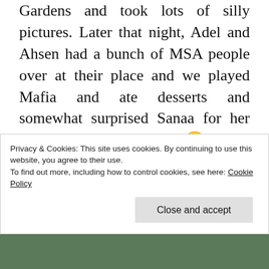Gardens and took lots of silly pictures. Later that night, Adel and Ahsen had a bunch of MSA people over at their place and we played Mafia and ate desserts and somewhat surprised Sanaa for her birthday at midnight 🙂 On Saturday, as is tradition now for the class of '17 Malaysians, we have a fling weekend picnic! I think part of what I like about being a junior in college, is that I now know how to navigate parts of college I don't enjoy by doing things I do enjoy and being with people whose company I value.
Privacy & Cookies: This site uses cookies. By continuing to use this website, you agree to their use.
To find out more, including how to control cookies, see here: Cookie Policy
[Figure (photo): Photo strip of people at the bottom of the page]